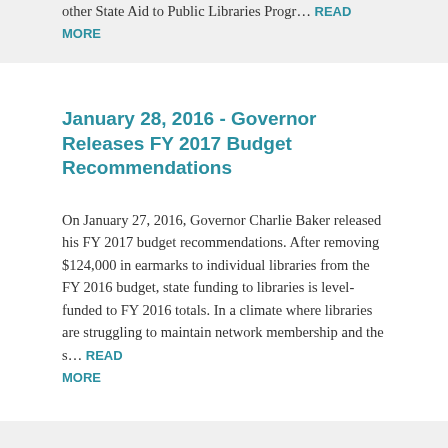other State Aid to Public Libraries Progr… READ MORE
January 28, 2016 - Governor Releases FY 2017 Budget Recommendations
On January 27, 2016, Governor Charlie Baker released his FY 2017 budget recommendations. After removing $124,000 in earmarks to individual libraries from the FY 2016 budget, state funding to libraries is level-funded to FY 2016 totals. In a climate where libraries are struggling to maintain network membership and the s… READ MORE
January 20, 2016 - State Aid Certification and Waiver Applicants